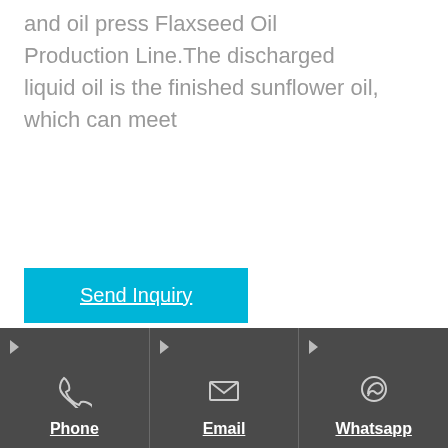and oil press Flaxseed Oil Production Line.The discharged liquid oil is the finished sunflower oil, which can meet
Send Inquiry
Linseed/Flaxseed Oil Production Technology and
Phone | Email | Whatsapp